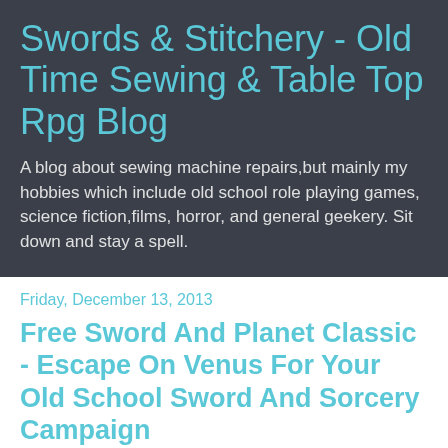Swords & Stitchery - Old Time Sewing & Table Top Rpg Blog
A blog about sewing machine repairs,but mainly my hobbies which include old school role playing games, science fiction,films, horror, and general geekery. Sit down and stay a spell.
Friday, December 13, 2013
Free Sword And Planet Classic - Escape On Venus For Your Old School Sword And Sorcery Campaign
I remember the very first time I encountered the Edgar